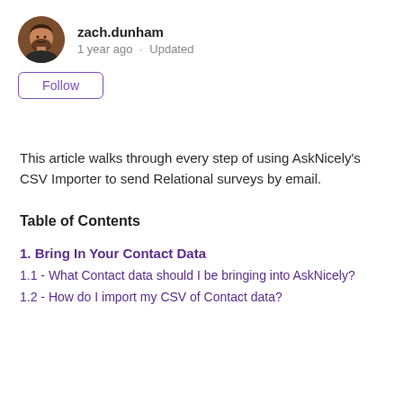zach.dunham
1 year ago · Updated
Follow
This article walks through every step of using AskNicely's CSV Importer to send Relational surveys by email.
Table of Contents
1. Bring In Your Contact Data
1.1 - What Contact data should I be bringing into AskNicely?
1.2 - How do I import my CSV of Contact data?